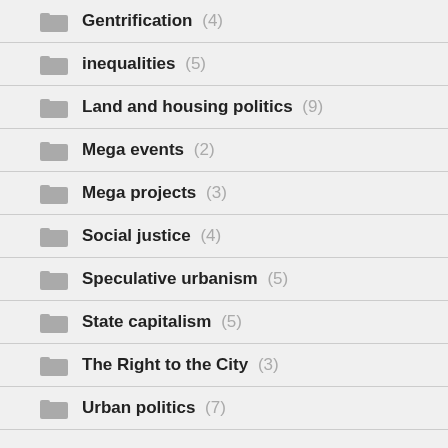Gentrification (4)
inequalities (5)
Land and housing politics (9)
Mega events (2)
Mega projects (3)
Social justice (4)
Speculative urbanism (5)
State capitalism (5)
The Right to the City (3)
Urban politics (7)